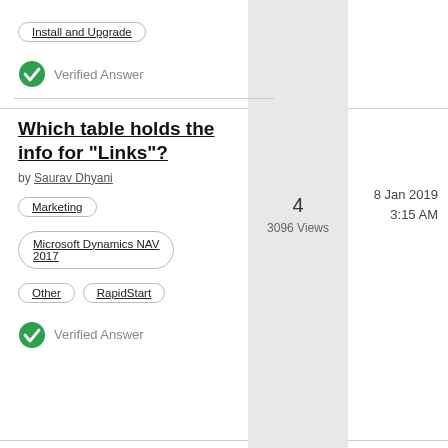Install and Upgrade
Verified Answer
Which table holds the info for "Links"?
by Saurav Dhyani
4
3096 Views
8 Jan 2019
3:15 AM
Marketing
Microsoft Dynamics NAV 2017
Other
RapidStart
Verified Answer